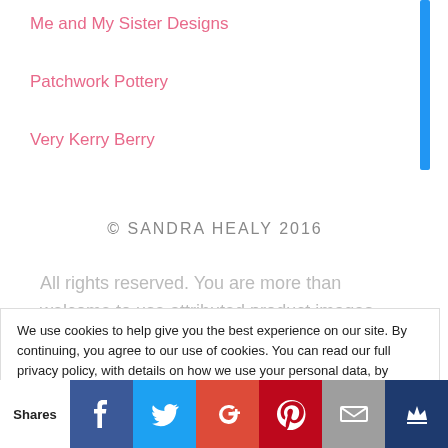Me and My Sister Designs
Patchwork Pottery
Very Kerry Berry
© SANDRA HEALY 2016
All rights reserved. You are more than welcome to use attributed product images from this site in order to promote our products. If you wish to use images for any
We use cookies to help give you the best experience on our site. By continuing, you agree to our use of cookies. You can read our full privacy policy, with details on how we use your personal data, by clicking on the following link. Privacy and Cookie Policy
Shares | Facebook | Twitter | Google+ | Pinterest | Email | Crown